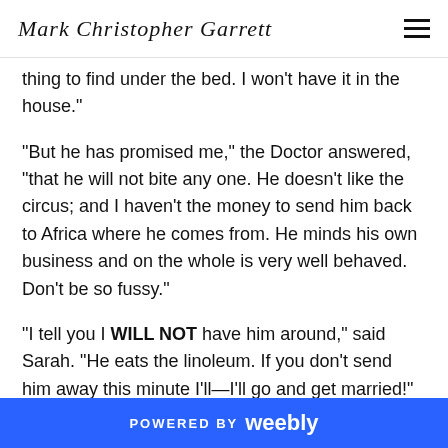Mark Christopher Garrett
thing to find under the bed. I won't have it in the house."
"But he has promised me," the Doctor answered, "that he will not bite any one. He doesn't like the circus; and I haven't the money to send him back to Africa where he comes from. He minds his own business and on the whole is very well behaved. Don't be so fussy."
"I tell you I WILL NOT have him around," said Sarah. "He eats the linoleum. If you don't send him away this minute I'll—I'll go and get married!"
"All right," said the Doctor, "go and get married. It can't be
POWERED BY weebly